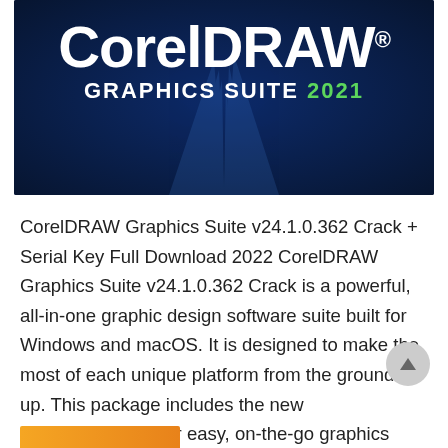[Figure (logo): CorelDRAW Graphics Suite 2021 banner with dark navy blue background, decorative light rays, white CorelDRAW text and GRAPHICS SUITE 2021 subtitle with green 2021 year]
CorelDRAW Graphics Suite v24.1.0.362 Crack + Serial Key Full Download 2022 CorelDRAW Graphics Suite v24.1.0.362 Crack is a powerful, all-in-one graphic design software suite built for Windows and macOS. It is designed to make the most of each unique platform from the ground up. This package includes the new CorelDRAW.app for easy, on-the-go graphics creation. Faster, smarter,...